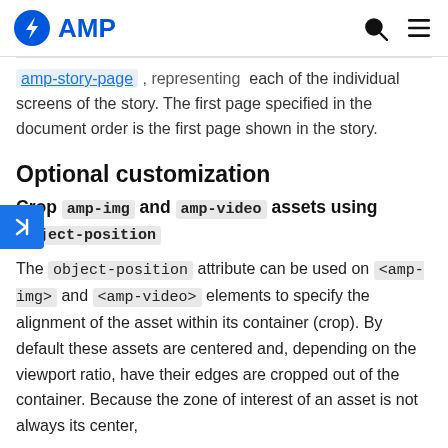AMP
… specify, along… each of the individual screens of the story. The first page specified in the document order is the first page shown in the story.
Optional customization
Crop amp-img and amp-video assets using object-position
The object-position attribute can be used on <amp-img> and <amp-video> elements to specify the alignment of the asset within its container (crop). By default these assets are centered and, depending on the viewport ratio, have their edges are cropped out of the container. Because the zone of interest of an asset is not always its center,